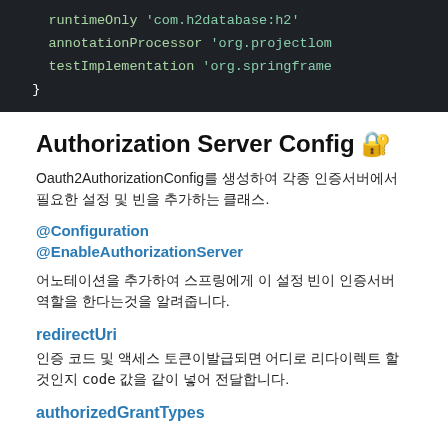[Figure (screenshot): Dark-themed code block showing Gradle dependency lines: runtimeOnly 'com.h2database:h2', annotationProcessor 'org.projectlom...', testImplementation 'org.springframe...', closing brace]
Authorization Server Config 🔐
Oauth2AuthorizationConfig를 생성하여 각종 인증서버에서 필요한 설정 및 빈을 추가하는 클래스.
@Configuration
@EnableAuthorizationServer
어노테이션을 추가하여 스프링에게 이 설정 빈이 인증서버 역할을 한다는것을 알려줍니다.
redirectUri
인증 코드 및 액세스 토큰이발급되면 어디로 리다이렉트 할것인지 code 값을 같이 넣어 전달합니다.
authorizedGrantTypes